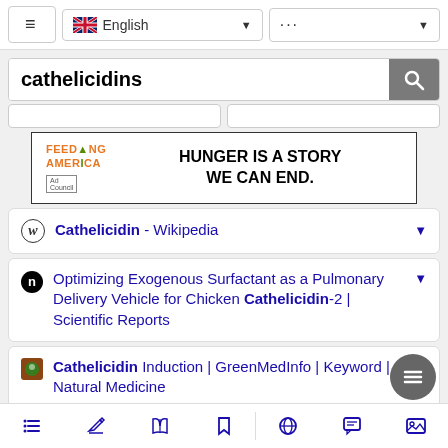≡  English ▼  ··· ▼
cathelicidins [search bar]
[Figure (screenshot): Advertisement banner for Feeding America: 'HUNGER IS A STORY WE CAN END.']
W  Cathelicidin - Wikipedia
n  Optimizing Exogenous Surfactant as a Pulmonary Delivery Vehicle for Chicken Cathelicidin-2 | Scientific Reports
Cathelicidin Induction | GreenMedInfo | Keyword | Natural Medicine
F  Biomatik CorporationHuman Cathelicidin Antimicrobial Peptide (CAMP) ELISA | Fisher
≡  ✎  📖  🔖  🌐  💬  🖼